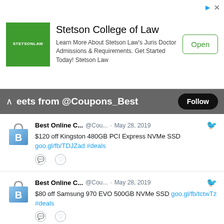[Figure (infographic): Advertisement banner for Stetson College of Law with green logo, text about Juris Doctor Admissions and Requirements, and an Open button]
tweets from @Coupons_Best   Follow
Best Online C...   @Cou...   · May 28, 2019
$120 off Kingston 480GB PCI Express NVMe SSD goo.gl/fb/TDJZad #deals
Best Online C...   @Cou...   · May 28, 2019
$80 off Samsung 970 EVO 500GB NVMe SSD goo.gl/fb/tctwTz #deals
Best Online C...   @Cou...   · May 28, 2019
$100 off TP-Link Deco Tri-Band Mesh Wi-Fi System goo.gl/fb/WkHuHt #deals